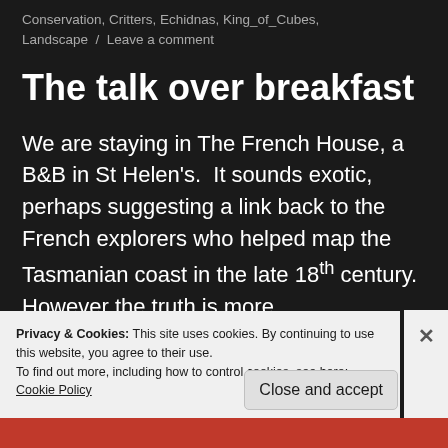Conservation, Critters, Echidnas, King_of_Cubes, Landscape / Leave a comment
The talk over breakfast
We are staying in The French House, a B&B in St Helen's.  It sounds exotic, perhaps suggesting a link back to the French explorers who helped map the Tasmanian coast in the late 18th century.  However the truth is more
Privacy & Cookies: This site uses cookies. By continuing to use this website, you agree to their use.
To find out more, including how to control cookies, see here:
Cookie Policy
Close and accept